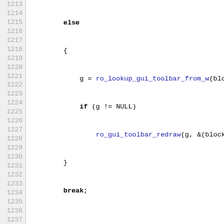[Figure (screenshot): Source code listing in C showing lines 1213-1242 of a GUI event handling function, with line numbers on the left and code on the right. Keywords are bold, function names are blue/dark blue.]